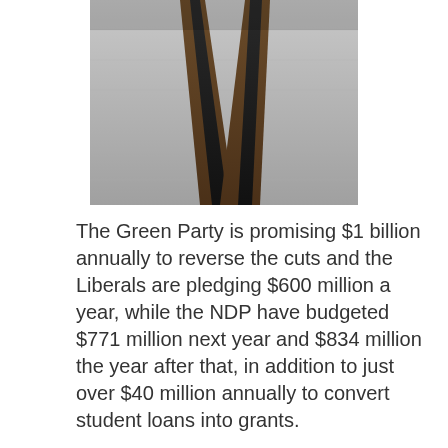[Figure (photo): Photo of what appears to be escalator or rail tracks viewed from above at an angle, with metallic rails and grey surface]
The Green Party is promising $1 billion annually to reverse the cuts and the Liberals are pledging $600 million a year, while the NDP have budgeted $771 million next year and $834 million the year after that, in addition to just over $40 million annually to convert student loans into grants.
"We will be reintroducing an OSAP program that is as generous for middle- and low- income Ontario students as that existed prior to 2018, prior to Doug Ford reversing the progress that